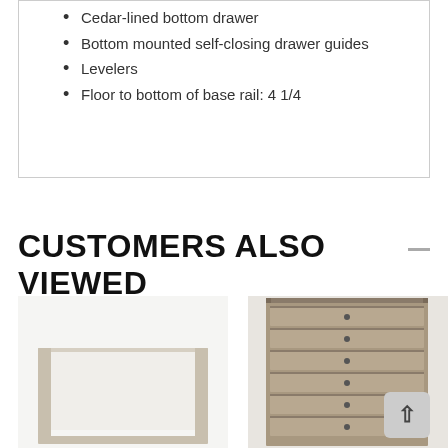Cedar-lined bottom drawer
Bottom mounted self-closing drawer guides
Levelers
Floor to bottom of base rail: 4 1/4
CUSTOMERS ALSO VIEWED
[Figure (photo): Console table with light wood/beige frame and white inner panel, modern style]
[Figure (photo): Gray weathered chest of drawers with multiple horizontal drawers and small round pulls]